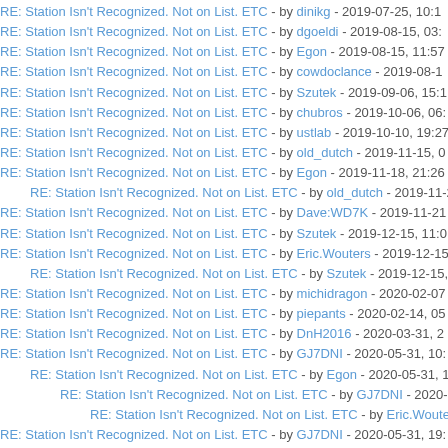RE: Station Isn't Recognized. Not on List. ETC - by dinikg - 2019-07-25, 10:1
RE: Station Isn't Recognized. Not on List. ETC - by dgoeldi - 2019-08-15, 03:
RE: Station Isn't Recognized. Not on List. ETC - by Egon - 2019-08-15, 11:57
RE: Station Isn't Recognized. Not on List. ETC - by cowdoclance - 2019-08-1
RE: Station Isn't Recognized. Not on List. ETC - by Szutek - 2019-09-06, 15:1
RE: Station Isn't Recognized. Not on List. ETC - by chubros - 2019-10-06, 06:
RE: Station Isn't Recognized. Not on List. ETC - by ustlab - 2019-10-10, 19:27
RE: Station Isn't Recognized. Not on List. ETC - by old_dutch - 2019-11-15, 0
RE: Station Isn't Recognized. Not on List. ETC - by Egon - 2019-11-18, 21:26
RE: Station Isn't Recognized. Not on List. ETC - by old_dutch - 2019-11-20
RE: Station Isn't Recognized. Not on List. ETC - by Dave:WD7K - 2019-11-21
RE: Station Isn't Recognized. Not on List. ETC - by Szutek - 2019-12-15, 11:0
RE: Station Isn't Recognized. Not on List. ETC - by Eric.Wouters - 2019-12-15
RE: Station Isn't Recognized. Not on List. ETC - by Szutek - 2019-12-15, 1
RE: Station Isn't Recognized. Not on List. ETC - by michidragon - 2020-02-07
RE: Station Isn't Recognized. Not on List. ETC - by piepants - 2020-02-14, 05
RE: Station Isn't Recognized. Not on List. ETC - by DnH2016 - 2020-03-31, 2
RE: Station Isn't Recognized. Not on List. ETC - by GJ7DNI - 2020-05-31, 10:
RE: Station Isn't Recognized. Not on List. ETC - by Egon - 2020-05-31, 19:
RE: Station Isn't Recognized. Not on List. ETC - by GJ7DNI - 2020-06-0
RE: Station Isn't Recognized. Not on List. ETC - by Eric.Wouters - 20
RE: Station Isn't Recognized. Not on List. ETC - by GJ7DNI - 2020-05-31, 19:
RE: Station Isn't Recognized. Not on List. ETC - by Faisandi - 2020-06-01, 15
RE: Station Isn't Recognized. Not on List. ETC - by gerbold - 2020-06-02, 20:
RE: Station Isn't Recognized. Not on List. ETC - by Sputnik - 2020-06-26, 22: